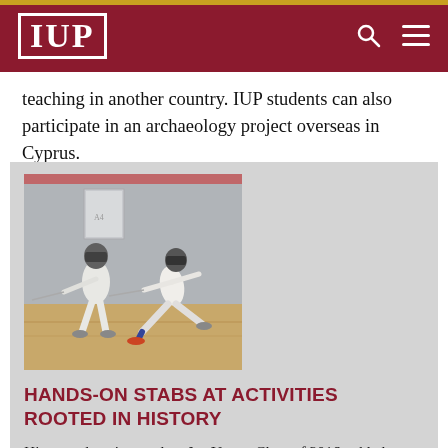IUP
teaching in another country. IUP students can also participate in an archaeology project overseas in Cyprus.
[Figure (photo): Two fencers in white protective gear and masks practicing fencing on a gym floor]
HANDS-ON STABS AT ACTIVITIES ROOTED IN HISTORY
History education student Joe Yaure, Class of 2016, added some historically-based activities to his years at IUP. He's on the Fencing Team, a sport he started before IUP, and in the Equestrian Club, something he'd never